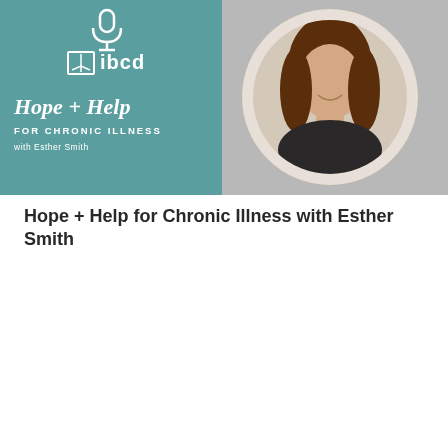[Figure (illustration): Podcast cover art for 'Hope + Help for Chronic Illness with Esther Smith'. Left half shows teal/green background with IBCD logo (microphone icon above, book-with-arrow icon beside 'ibcd' text in a box), italic script text reading 'Hope + Help', bold uppercase 'FOR CHRONIC ILLNESS', and smaller 'with Esther Smith'. Right half shows a light gray background with a circular portrait photo of a smiling young woman with long brown hair wearing a dark top.]
Hope + Help for Chronic Illness with Esther Smith